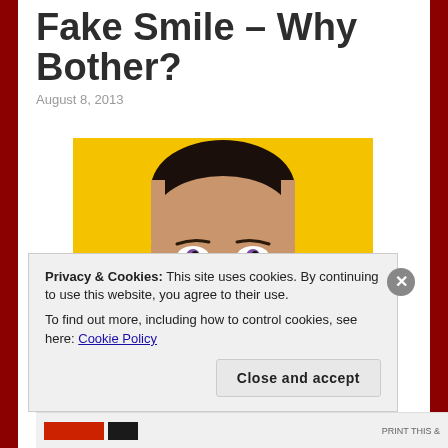Fake Smile – Why Bother?
August 8, 2013
[Figure (photo): Close-up photo of a man's face against a yellow background, with a slightly suspicious or sardonic expression, with arrows pointing toward him from both sides.]
Privacy & Cookies: This site uses cookies. By continuing to use this website, you agree to their use.
To find out more, including how to control cookies, see here: Cookie Policy
Close and accept